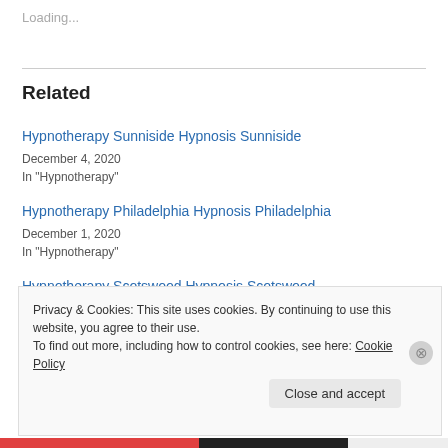Loading...
Related
Hypnotherapy Sunniside Hypnosis Sunniside
December 4, 2020
In "Hypnotherapy"
Hypnotherapy Philadelphia Hypnosis Philadelphia
December 1, 2020
In "Hypnotherapy"
Hypnotherapy Scotswood Hypnosis Scotswood
Privacy & Cookies: This site uses cookies. By continuing to use this website, you agree to their use.
To find out more, including how to control cookies, see here: Cookie Policy
Close and accept